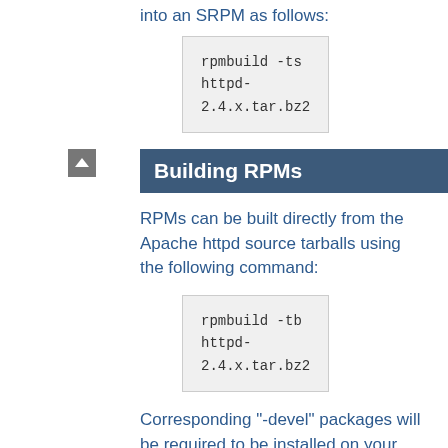into an SRPM as follows:
rpmbuild -ts httpd-2.4.x.tar.bz2
Building RPMs
RPMs can be built directly from the Apache httpd source tarballs using the following command:
rpmbuild -tb httpd-2.4.x.tar.bz2
Corresponding "-devel" packages will be required to be installed on your build system prior to building the RPMs, the rpmbuild command will automatically calculate what RPMs are required